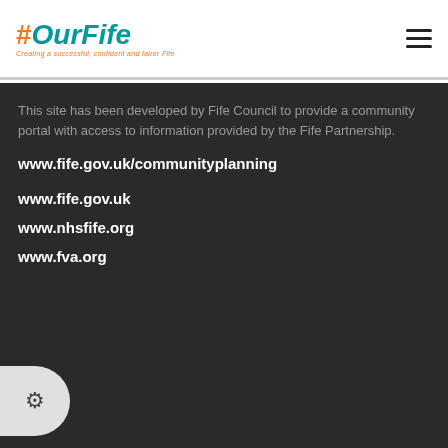[Figure (logo): #OurFife logo with tagline 'Creating a successful, confident and fairer Fife']
This site has been developed by Fife Council to provide a community portal with access to information provided by the Fife Partnership.
www.fife.gov.uk/communityplanning
www.fife.gov.uk
www.nhsfife.org
www.fva.org